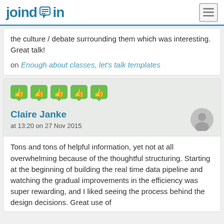joindin
the culture / debate surrounding them which was interesting. Great talk!
on Enough about classes, let’s talk templates
[Figure (illustration): Five green thumbs-up speech bubble icons in a row]
Claire Janke
at 13:20 on 27 Nov 2015
Tons and tons of helpful information, yet not at all overwhelming because of the thoughtful structuring. Starting at the beginning of building the real time data pipeline and watching the gradual improvements in the efficiency was super rewarding, and I liked seeing the process behind the design decisions. Great use of